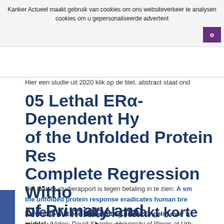Kanker Actueel maakt gebruik van cookies om ons websiteverkeer te analysen cookies om u gepersonaliseerde advertent
Hier een studie uit 2020 klik op de titel, abstract staat ond
05 Lethal ERα-Dependent Hy of the Unfolded Protein Res Complete Regression Witho of Primary and Metastatic B
Het laatste studierapport is tegen betaling in te zien: A sn the unfolded protein response eradicates human bre
Een video met een beetje uitleg (in het Engels) over h middel. (Video: David Shapiro, University of Illinois at Urb het artikel van de VTR
Nieuw middel maakt korte metten me